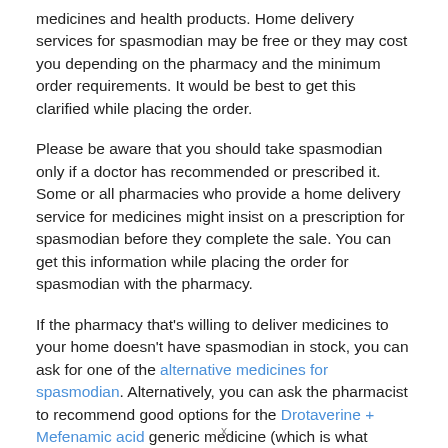medicines and health products. Home delivery services for spasmodian may be free or they may cost you depending on the pharmacy and the minimum order requirements. It would be best to get this clarified while placing the order.
Please be aware that you should take spasmodian only if a doctor has recommended or prescribed it. Some or all pharmacies who provide a home delivery service for medicines might insist on a prescription for spasmodian before they complete the sale. You can get this information while placing the order for spasmodian with the pharmacy.
If the pharmacy that's willing to deliver medicines to your home doesn't have spasmodian in stock, you can ask for one of the alternative medicines for spasmodian. Alternatively, you can ask the pharmacist to recommend good options for the Drotaverine + Mefenamic acid generic medicine (which is what spasmodian essentially is).
x